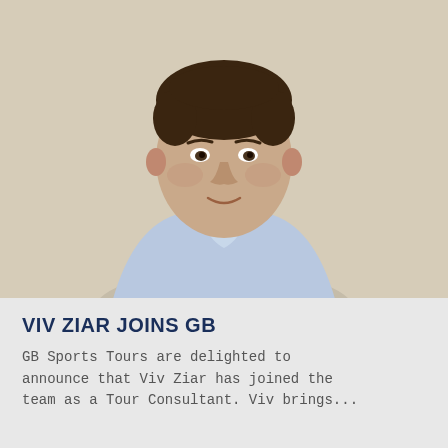[Figure (photo): Headshot portrait of Viv Ziar, a young man with short dark curly hair, wearing a light blue collared shirt, photographed against a beige/cream wall background.]
VIV ZIAR JOINS GB
GB Sports Tours are delighted to announce that Viv Ziar has joined the team as a Tour Consultant. Viv brings...